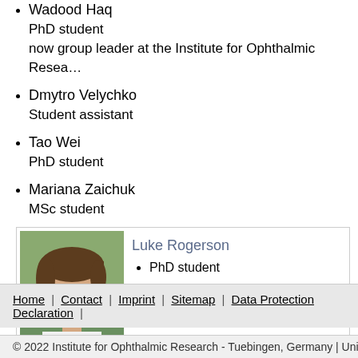Wadood Haq
PhD student
now group leader at the Institute for Ophthalmic Resea…
Dmytro Velychko
Student assistant
Tao Wei
PhD student
Mariana Zaichuk
MSc student
[Figure (photo): Headshot photo of Luke Rogerson, a young man with brown hair, wearing a white shirt, photographed outdoors.]
Luke Rogerson
• PhD student
• In collaboration with Philipp Berens
Home | Contact | Imprint | Sitemap | Data Protection Declaration |
© 2022 Institute for Ophthalmic Research - Tuebingen, Germany | Universita…